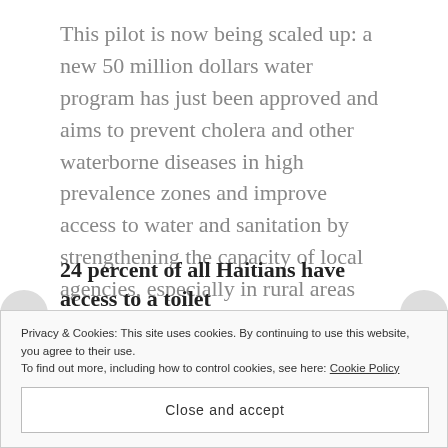This pilot is now being scaled up: a new 50 million dollars water program has just been approved and aims to prevent cholera and other waterborne diseases in high prevalence zones and improve access to water and sanitation by strengthening the capacity of local agencies, especially in rural areas and small towns.
24 percent of all Haitians have access to a toilet
Sustainable collection and treatment of sewage are practically non-existent throughout the country and
Privacy & Cookies: This site uses cookies. By continuing to use this website, you agree to their use.
To find out more, including how to control cookies, see here: Cookie Policy
Close and accept